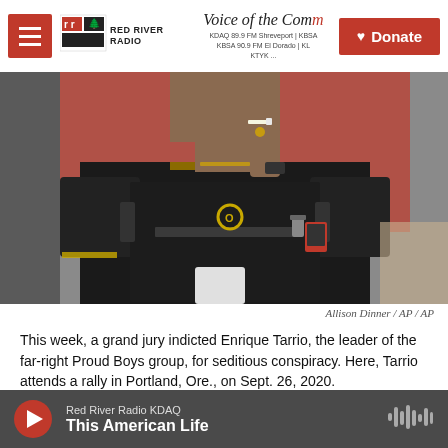Red River Radio — Voice of the Community — KDAQ 89.9 FM Shreveport | KBSA 90.9 FM El Dorado | KL... | KTYK ... — Donate
[Figure (photo): A man wearing a black tactical vest and black polo shirt with yellow trim smoking a cigarette at a rally, with a red background behind him.]
Allison Dinner / AP / AP
This week, a grand jury indicted Enrique Tarrio, the leader of the far-right Proud Boys group, for seditious conspiracy. Here, Tarrio attends a rally in Portland, Ore., on Sept. 26, 2020.
Red River Radio KDAQ — This American Life